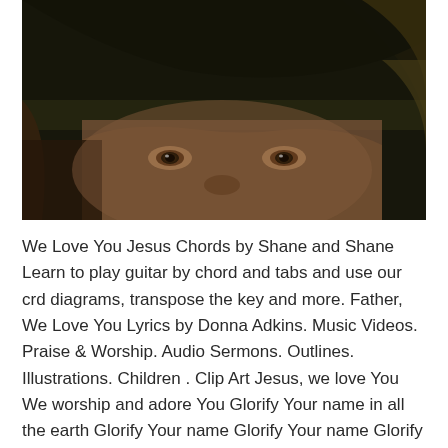[Figure (photo): Close-up photo of a person's face with dark eyes and hair, in dark tones. The image is cropped showing mainly the eye area and hat/hair.]
We Love You Jesus Chords by Shane and Shane Learn to play guitar by chord and tabs and use our crd diagrams, transpose the key and more. Father, We Love You Lyrics by Donna Adkins. Music Videos. Praise & Worship. Audio Sermons. Outlines. Illustrations. Children . Clip Art Jesus, we love You We worship and adore You Glorify Your name in all the earth Glorify Your name Glorify Your name Glorify Your